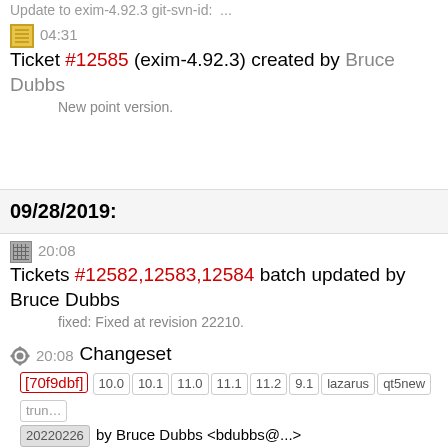Update to exim-4.92.3 git-svn-id: ...
04:31 Ticket #12585 (exim-4.92.3) created by Bruce Dubbs
New point version.
09/28/2019:
20:08 Tickets #12582,12583,12584 batch updated by Bruce Dubbs
fixed: Fixed at revision 22210.
20:08 Changeset [70f9dbf] 10.0 10.1 11.0 11.1 11.2 9.1 lazarus qt5new trun 20220226 by Bruce Dubbs <bdubbs@...>
Update to geoclue-2.5.4. Update to fribidi-1.0.7. Update to ...
16:04 Changeset [70a6620] 10.0 10.1 11.0 11.1 11.2 9.1 lazarus qt5new tru 20220226 by Bruce Dubbs <bdubbs@...>
Fix php md5sum git-svn-id: ...